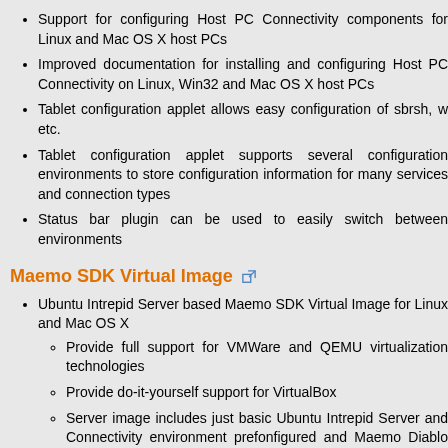Support for configuring Host PC Connectivity components for Linux and Mac OS X host PCs
Improved documentation for installing and configuring Host PC Connectivity on Linux, Win32 and Mac OS X host PCs
Tablet configuration applet allows easy configuration of sbrsh, w etc.
Tablet configuration applet supports several configuration environments to store configuration information for many services and connection types
Status bar plugin can be used to easily switch between environments
Maemo SDK Virtual Image
Ubuntu Intrepid Server based Maemo SDK Virtual Image for Linux and Mac OS X
Provide full support for VMWare and QEMU virtualization technologies
Provide do-it-yourself support for VirtualBox
Server image includes just basic Ubuntu Intrepid Server and Connectivity environment prefonfigured and Maemo Diablo and Fremantle Development Environments can be installed with the installation wizard automatically